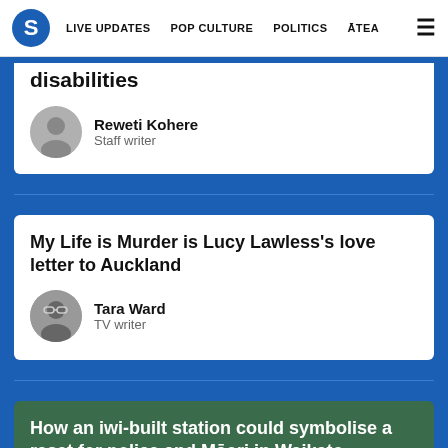S | LIVE UPDATES | POP CULTURE | POLITICS | ĀTEA
disabilities
Reweti Kohere
Staff writer
My Life is Murder is Lucy Lawless's love letter to Auckland
Tara Ward
TV writer
How an iwi-built station could symbolise a reset for police and Māori in Waikato
Te Kuru o te Marama Dewes
Contributing writer